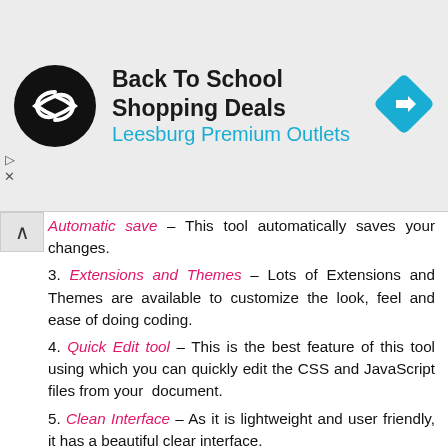[Figure (infographic): Ad banner: Back To School Shopping Deals at Leesburg Premium Outlets with logo and direction icon]
Automatic save – This tool automatically saves your changes.
3. Extensions and Themes – Lots of Extensions and Themes are available to customize the look, feel and ease of doing coding.
4. Quick Edit tool – This is the best feature of this tool using which you can quickly edit the CSS and JavaScript files from your document.
5. Clean Interface – As it is lightweight and user friendly, it has a beautiful clear interface.
6. Frequent updates & Maintainability – As it is maintained by Adobe community, it has frequent updates and maintenance.
7. Cross Platform – This tool works on Windows, Mac and most of the Linux distributions.